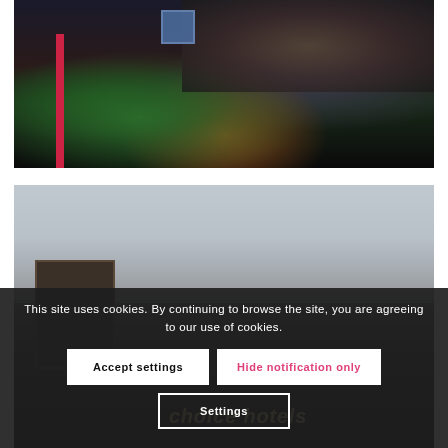[Figure (photo): Aerial/side view of a baseball stadium at night with green field, crowd in stands, red foul pole, and scoreboard lighting visible]
[Figure (photo): Interior venue photo showing a dark event space with a framed picture on the wall and text overlay 'choice hotels' partially visible]
This site uses cookies. By continuing to browse the site, you are agreeing to our use of cookies.
Accept settings
Hide notification only
Settings